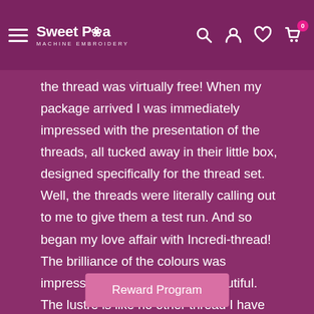Sweet Pea Machine Embroidery — navigation header with hamburger menu, logo, search, account, wishlist, and cart icons
the thread was virtually free! When my package arrived I was immediately impressed with the presentation of the threads, all tucked away in their little box, designed specifically for the thread set. Well, the threads were literally calling out to me to give them a test run. And so began my love affair with Incredi-thread! The brilliance of the colours was impressive. They are simply beautiful. The lustre is like no other thread I have used. And so far I have not experienced any thread breakages, even when the sti...act
Reward Program